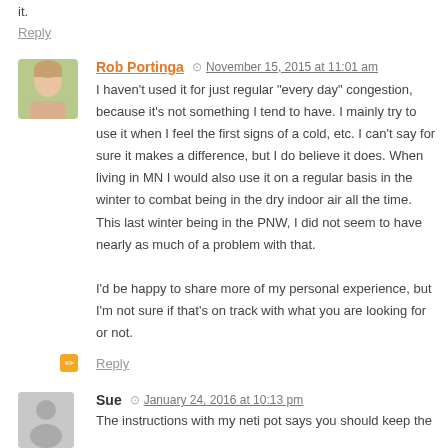it.
Reply
Rob Portinga  November 15, 2015 at 11:01 am
I haven't used it for just regular "every day" congestion, because it's not something I tend to have. I mainly try to use it when I feel the first signs of a cold, etc. I can't say for sure it makes a difference, but I do believe it does. When living in MN I would also use it on a regular basis in the winter to combat being in the dry indoor air all the time. This last winter being in the PNW, I did not seem to have nearly as much of a problem with that.

I'd be happy to share more of my personal experience, but I'm not sure if that's on track with what you are looking for or not.
Reply
Sue  January 24, 2016 at 10:13 pm
The instructions with my neti pot says you should keep the